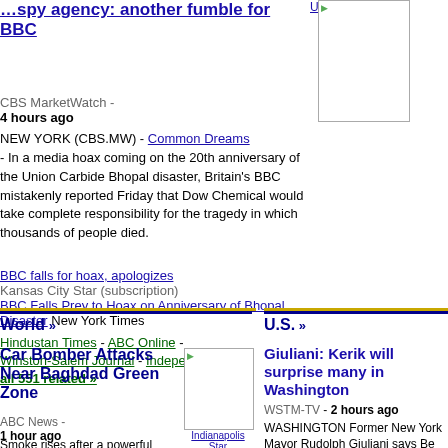...spy agency: another fumble for BBC
CBS MarketWatch - 4 hours ago
NEW YORK (CBS.MW) - - In a media hoax coming on the 20th anniversary of the Union Carbide Bhopal disaster, Britain's BBC mistakenly reported Friday that Dow Chemical would take complete responsibility for the tragedy in which thousands of people died.
BBC falls for hoax, apologizes — Kansas City Star (subscription)
BBC Falls Prey to Hoax on Anniversary of Bhopal Disaster — New York Times
Hindustan Times - ABC Online - Winston-Salem Journal - Independent - all 551 related »
[Figure (photo): Small thumbnail image with broken image icon, labeled Common Dreams]
World »
U.S. »
Car Bomber Attacks Near Baghdad Green Zone
ABC News - 1 hour ago
Smoke rises after a powerful
[Figure (photo): Small thumbnail, labeled Indianapolis Star]
Giuliani: Kerik will surprise many in Washington
WSTM-TV - 2 hours ago
WASHINGTON Former New York Mayor Rudolph Giuliani says Bernhard Kerik will surprise a lot of people as the h